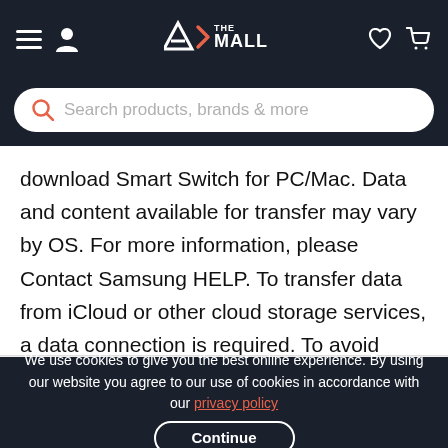A>THE MALL
Search products, brands & more
download Smart Switch for PC/Mac. Data and content available for transfer may vary by OS. For more information, please Contact Samsung HELP. To transfer data from iCloud or other cloud storage services, a data connection is required. To avoid disruption in text messaging when transferring from iOS, change your
Out of stock
We use cookies to give you the best online experience. By using our website you agree to our use of cookies in accordance with our privacy policy
Continue